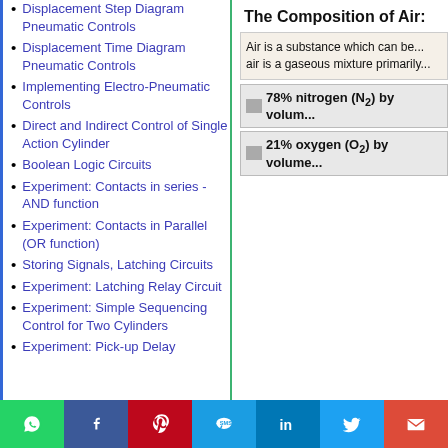Displacement Step Diagram Pneumatic Controls
Displacement Time Diagram Pneumatic Controls
Implementing Electro-Pneumatic Controls
Direct and Indirect Control of Single Action Cylinder
Boolean Logic Circuits
Experiment: Contacts in series - AND function
Experiment: Contacts in Parallel (OR function)
Storing Signals, Latching Circuits
Experiment: Latching Relay Circuit
Experiment: Simple Sequencing Control for Two Cylinders
Experiment: Pick-up Delay
The Composition of Air:
Air is a substance which can be... air is a gaseous mixture primarily...
78% nitrogen (N2) by volum...
21% oxygen (O2) by volume...